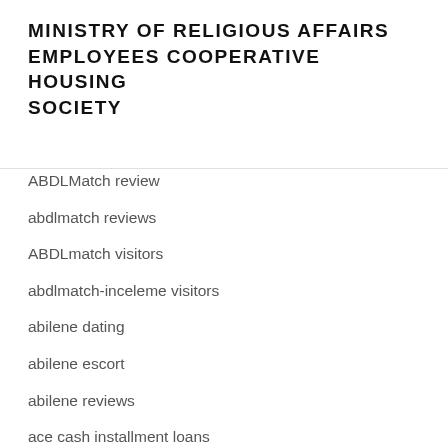MINISTRY OF RELIGIOUS AFFAIRS EMPLOYEES COOPERATIVE HOUSING SOCIETY
ABDLMatch review
abdlmatch reviews
ABDLmatch visitors
abdlmatch-inceleme visitors
abilene dating
abilene escort
abilene reviews
ace cash installment loans
ace title loans near me
AceBook Related Site